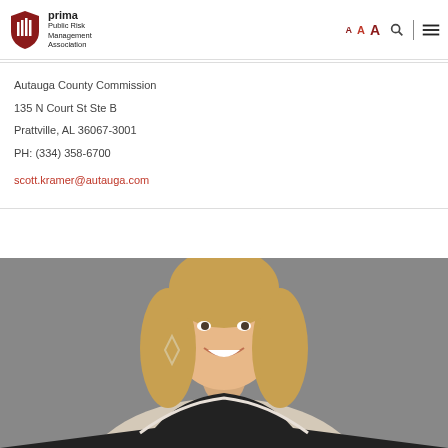PRIMA – Public Risk Management Association [logo and nav]
Autauga County Commission
135 N Court St Ste B
Prattville, AL 36067-3001
PH: (334) 358-6700
scott.kramer@autauga.com
[Figure (photo): Professional headshot of a smiling woman with long blonde hair, wearing a white patterned blouse and black ruffled top, against a gray background]